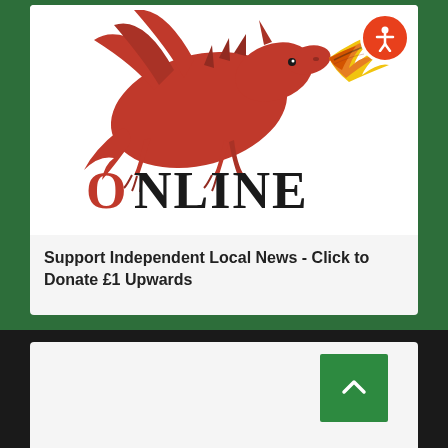[Figure (logo): Red dragon logo with fire breathing, with text 'ONLINE' below in serif font where the O is styled in orange/brown gradient. An orange accessibility icon button is in the top right corner.]
Support Independent Local News - Click to Donate £1 Upwards
[Figure (other): Green scroll-to-top button with upward chevron arrow, positioned on right side of bottom black section. White card area below.]